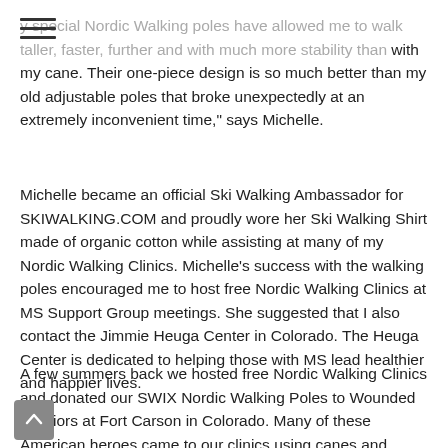My special Nordic Walking poles have allowed me to walk taller, faster, further and with much more stability than with my cane. Their one-piece design is so much better than my old adjustable poles that broke unexpectedly at an extremely inconvenient time," says Michelle.
Michelle became an official Ski Walking Ambassador for SKIWALKING.COM and proudly wore her Ski Walking Shirt made of organic cotton while assisting at many of my Nordic Walking Clinics. Michelle's success with the walking poles encouraged me to host free Nordic Walking Clinics at MS Support Group meetings. She suggested that I also contact the Jimmie Heuga Center in Colorado. The Heuga Center is dedicated to helping those with MS lead healthier and happier lives.
A few summers back we hosted free Nordic Walking Clinics and donated our SWIX Nordic Walking Poles to Wounded Warriors at Fort Carson in Colorado. Many of these American heroes came to our clinics using canes and walkers. One Wounded Warrior had just been released...